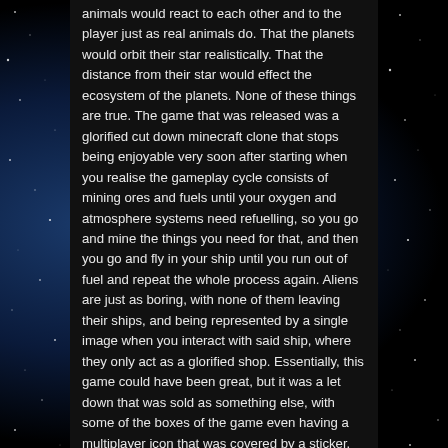animals would react to each other and to the player just as real animals do. That the planets would orbit their star realistically. That the distance from their star would effect the ecosystem of the planets. None of these things are true. The game that was released was a glorified cut down minecraft clone that stops being enjoyable very soon after starting when you realise the gameplay cycle consists of mining ores and fuels until your oxygen and atmosphere systems need refuelling, so you go and mine the things you need for that, and then you go and fly in your ship until you run out of fuel and repeat the whole process again. Aliens are just as boring, with none of them leaving their ships, and being represented by a single image when you interact with said ship, where they only act as a glorified shop. Essentially, this game could have been great, but it was a let down that was sold as something else, with some of the boxes of the game even having a multiplayer icon that was covered by a sticker. No man's sky was sullied by one man's lie, and in my eyes and the eyes of a good many other people, that will forever mark it as a disaster that can never be reclaimed.
Battlefield 1